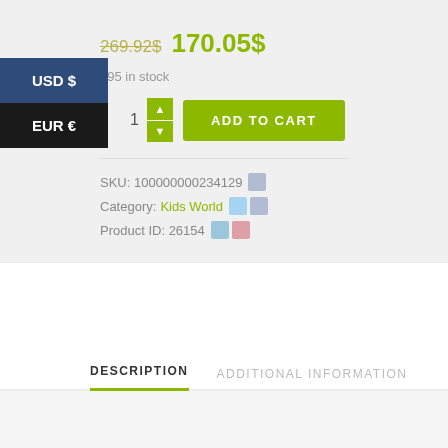269.92$ 170.05$
995 in stock
USD $
EUR €
1  ADD TO CART
SKU: 100000000234129
Category: Kids World
Product ID: 26154
DESCRIPTION   ADDITIONAL INFORMATION